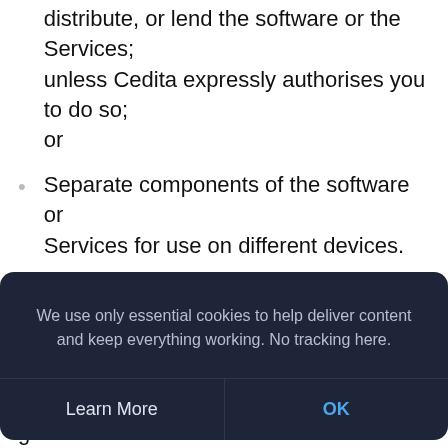distribute, or lend the software or the Services; unless Cedita expressly authorises you to do so; or
Separate components of the software or Services for use on different devices.
Except as expressly provided herein, Cedita does not grant you a license or any other rights of any type under any patents, know-how, copyrights, trade secrets, trademarks or other intellectual property
[Figure (screenshot): Cookie consent banner with dark background. Text: 'We use only essential cookies to help deliver content and keep everything working. No tracking here.' Two buttons: 'Learn More' and 'OK' (blue).]
product improvements ("Feedback"), you give to us